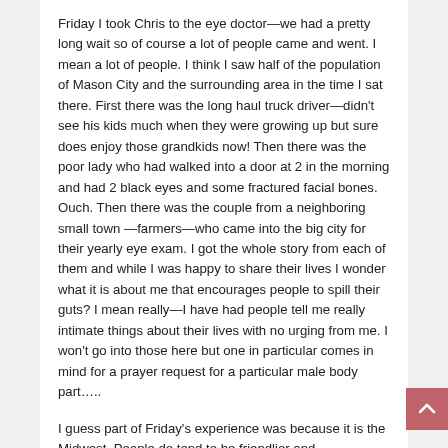Friday I took Chris to the eye doctor—we had a pretty long wait so of course a lot of people came and went. I mean a lot of people. I think I saw half of the population of Mason City and the surrounding area in the time I sat there. First there was the long haul truck driver—didn't see his kids much when they were growing up but sure does enjoy those grandkids now! Then there was the poor lady who had walked into a door at 2 in the morning and had 2 black eyes and some fractured facial bones. Ouch. Then there was the couple from a neighboring small town —farmers—who came into the big city for their yearly eye exam. I got the whole story from each of them and while I was happy to share their lives I wonder what it is about me that encourages people to spill their guts? I mean really—I have had people tell me really intimate things about their lives with no urging from me. I won't go into those here but one in particular comes in mind for a prayer request for a particular male body part…..
I guess part of Friday's experience was because it is the Midwest. People do tend to be friendlier and